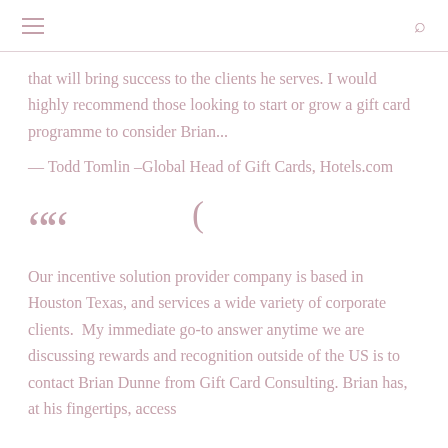that will bring success to the clients he serves. I would highly recommend those looking to start or grow a gift card programme to consider Brian...
— Todd Tomlin –Global Head of Gift Cards, Hotels.com
““
Our incentive solution provider company is based in Houston Texas, and services a wide variety of corporate clients.  My immediate go-to answer anytime we are discussing rewards and recognition outside of the US is to contact Brian Dunne from Gift Card Consulting. Brian has, at his fingertips, access